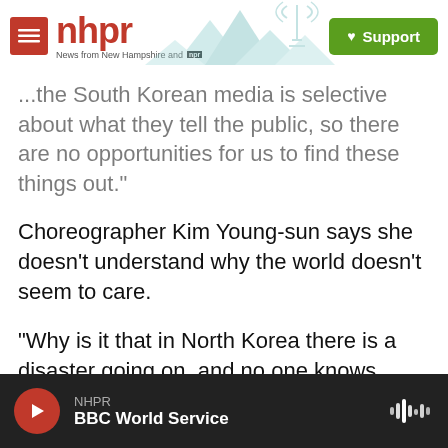[Figure (logo): NHPR logo with hamburger menu, mountain/radio tower illustration, and green Support button]
...the South Korean media is selective about what they tell the public, so there are no opportunities for us to find these things out."
Choreographer Kim Young-sun says she doesn't understand why the world doesn't seem to care.
"Why is it that in North Korea there is a disaster going on, and no one knows about it? Through this art, I want people to know the reality of these prison camps. And the reality of North Korea's prison camps is that they are worse than Auschwitz."
[Figure (screenshot): Audio player footer showing NHPR BBC World Service with play button and waveform icon]